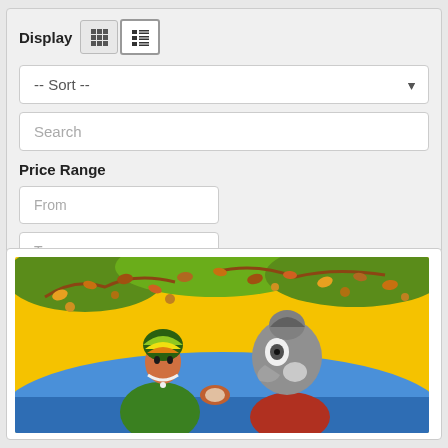Display (grid/list toggle buttons)
-- Sort --
Search
Price Range
From
To
Filter
[Figure (illustration): Colorful indigenous-style painting showing two figures facing each other with a bird/eagle headdress on one figure, surrounded by decorative foliage on a yellow background.]